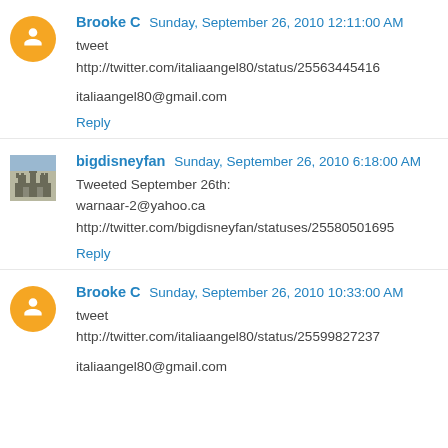Brooke C  Sunday, September 26, 2010 12:11:00 AM
tweet
http://twitter.com/italiaangel80/status/25563445416

italiaangel80@gmail.com
Reply
bigdisneyfan  Sunday, September 26, 2010 6:18:00 AM
Tweeted September 26th:
warnaar-2@yahoo.ca
http://twitter.com/bigdisneyfan/statuses/25580501695
Reply
Brooke C  Sunday, September 26, 2010 10:33:00 AM
tweet
http://twitter.com/italiaangel80/status/25599827237

italiaangel80@gmail.com